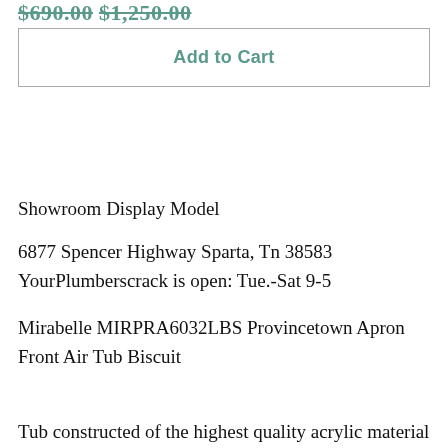$690.00 $1,250.00
Add to Cart
Showroom Display Model
6877 Spencer Highway Sparta, Tn 38583
YourPlumberscrack is open: Tue.-Sat 9-5
Mirabelle MIRPRA6032LBS Provincetown Apron Front Air Tub Biscuit
Tub constructed of the highest quality acrylic material